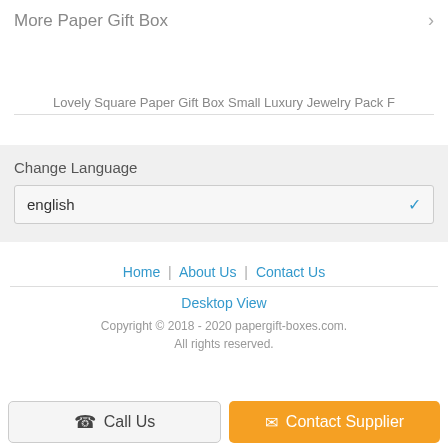More Paper Gift Box
Lovely Square Paper Gift Box Small Luxury Jewelry Pack F
Change Language
english
Home | About Us | Contact Us
Desktop View
Copyright © 2018 - 2020 papergift-boxes.com. All rights reserved.
Call Us
Contact Supplier